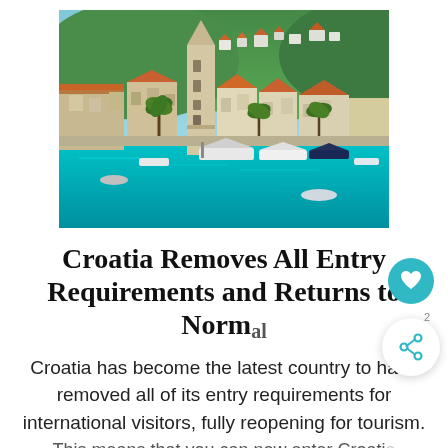[Figure (photo): Aerial view of a Croatian coastal town (likely Hvar) with a prominent church bell tower, red-roofed white buildings cascading down hills, turquoise harbor with yachts and boats, and lush green trees in the background.]
Croatia Removes All Entry Requirements and Returns to Normal
Croatia has become the latest country to have removed all of its entry requirements for international visitors, fully reopening for tourism. This means that you can now enter Croatia